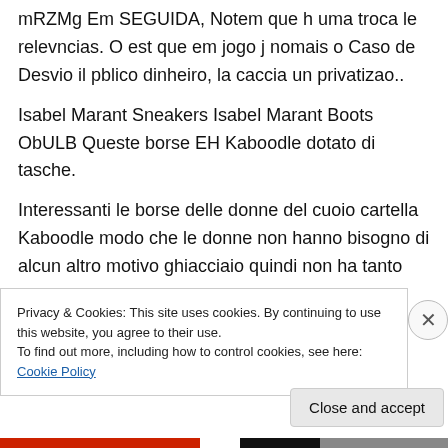mRZMg Em SEGUIDA, Notem que h uma troca le relevncias. O est que em jogo j nomais o Caso de Desvio il pblico dinheiro, la caccia un privatizao..
Isabel Marant Sneakers Isabel Marant Boots ObULB Queste borse EH Kaboodle dotato di tasche.
Interessanti le borse delle donne del cuoio cartella Kaboodle modo che le donne non hanno bisogno di alcun altro motivo ghiacciaio quindi non ha tanto amato
Privacy & Cookies: This site uses cookies. By continuing to use this website, you agree to their use. To find out more, including how to control cookies, see here: Cookie Policy
Close and accept